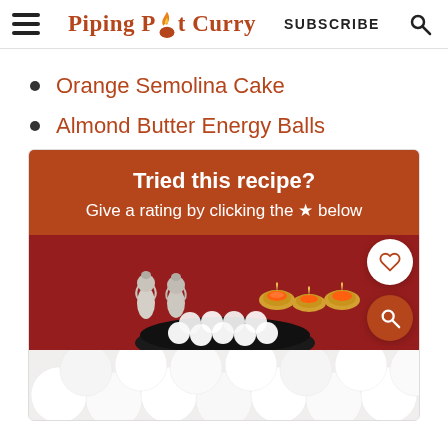Piping Pot Curry — SUBSCRIBE
Orange Semolina Cake
Almond Butter Energy Balls
Tried this recipe? Give a rating by clicking the ★ below
[Figure (photo): Photo of white coconut/almond energy balls on a black plate with Ganesha statues and lit diyas on a red cloth in the background, and a second photo of white balls from above]